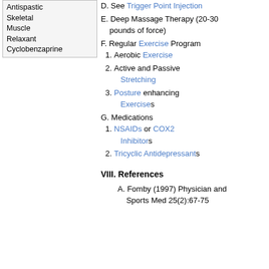Antispastic Skeletal Muscle Relaxant Cyclobenzaprine
D. See Trigger Point Injection
E. Deep Massage Therapy (20-30 pounds of force)
F. Regular Exercise Program
1. Aerobic Exercise
2. Active and Passive Stretching
3. Posture enhancing Exercises
G. Medications
1. NSAIDs or COX2 Inhibitors
2. Tricyclic Antidepressants
VIII. References
A. Fomby (1997) Physician and Sports Med 25(2):67-75